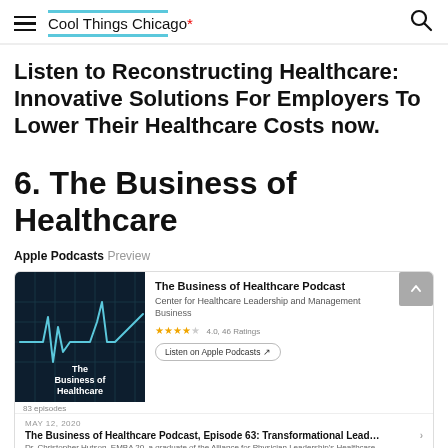Cool Things Chicago *
Listen to Reconstructing Healthcare: Innovative Solutions For Employers To Lower Their Healthcare Costs now.
6. The Business of Healthcare
Apple Podcasts Preview
[Figure (screenshot): Apple Podcasts preview card for 'The Business of Healthcare Podcast' by Center for Healthcare Leadership and Management. Shows podcast artwork (dark background with ECG line and upward trend), podcast title, category (Business), star rating (4.0, 46 Ratings), Listen on Apple Podcasts button, and an episode: MAY 12, 2020 - The Business of Healthcare Podcast, Episode 63: Transformational Lead... with description and PLAY / 75 min buttons. 83 episodes shown.]